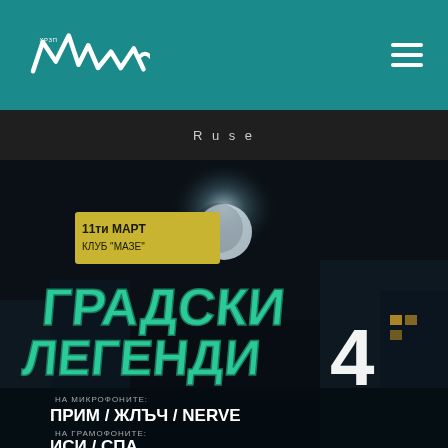[Figure (logo): XPRSN graffiti-style logo in white on teal header background]
R u s e
[Figure (photo): Event poster for 'Градски Легенди 4' (City Legends 4) on 11th March at Club MAZE. Features graffiti-style green text on a dark night city background. Performers listed: На микрофоните: ПРИМ / ЖЛЪЧ / NERVE. На грамофоните: partially visible.]